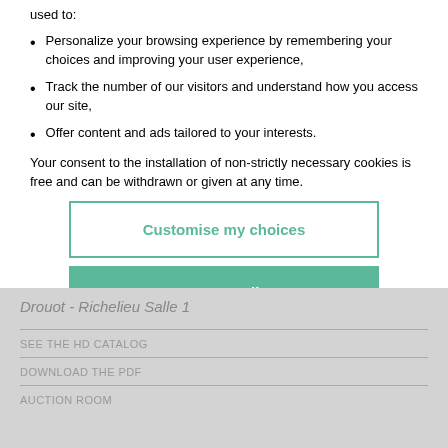used to:
Personalize your browsing experience by remembering your choices and improving your user experience,
Track the number of our visitors and understand how you access our site,
Offer content and ads tailored to your interests.
Your consent to the installation of non-strictly necessary cookies is free and can be withdrawn or given at any time.
Customise my choices
Accept all
Drouot - Richelieu Salle 1
SEE THE HD CATALOG
DOWNLOAD THE PDF
AUCTION ROOM